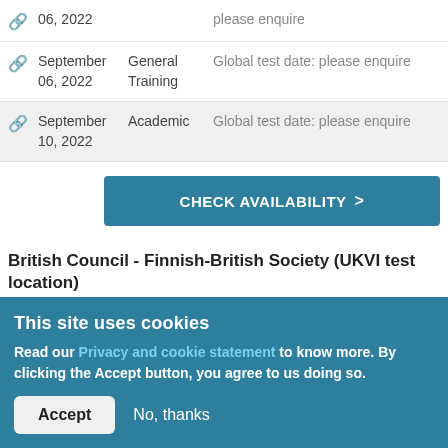|  | Date | Type | Info |
| --- | --- | --- | --- |
| 🔗 | 06, 2022 |  | please enquire |
| 🔗 | September 06, 2022 | General Training | Global test date: please enquire |
| 🔗 | September 10, 2022 | Academic | Global test date: please enquire |
CHECK AVAILABILITY >
British Council - Finnish-British Society (UKVI test location)
This site uses cookies
Read our Privacy and cookie statement to know more. By clicking the Accept button, you agree to us doing so.
Accept   No, thanks